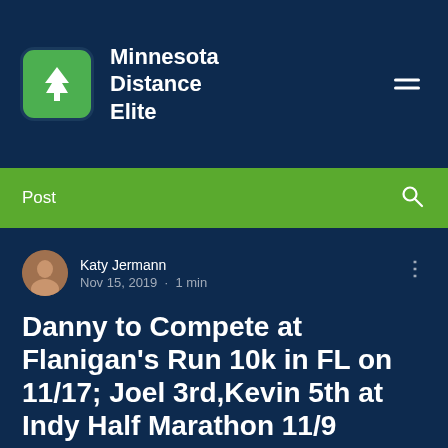Minnesota Distance Elite
Post
Katy Jermann
Nov 15, 2019 · 1 min
Danny to Compete at Flanigan's Run 10k in FL on 11/17; Joel 3rd, Kevin 5th at Indy Half Marathon 11/9